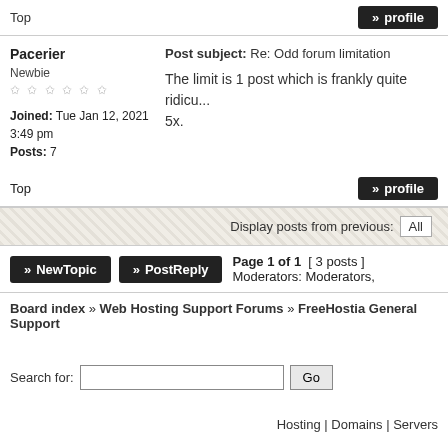Top
» profile
Pacerier
Post subject: Re: Odd forum limitation
Newbie
The limit is 1 post which is frankly quite ridicu... 5x.
Joined: Tue Jan 12, 2021 3:49 pm
Posts: 7
Top
» profile
Display posts from previous: All
» NewTopic  » PostReply  Page 1 of 1  [ 3 posts ]  Moderators: Moderators,
Board index » Web Hosting Support Forums » FreeHostia General Support
Search for:
Hosting | Domains | Servers